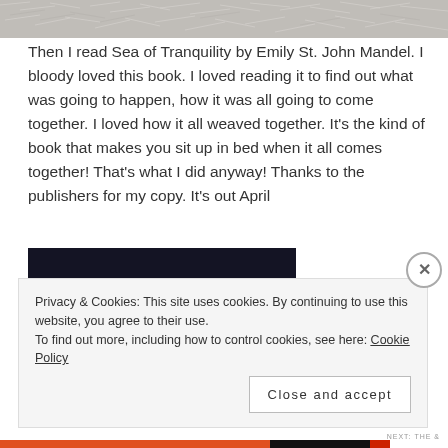[Figure (photo): Top portion of a photo, appears to show fur or grass texture in grey/white tones]
Then I read Sea of Tranquility by Emily St. John Mandel. I bloody loved this book. I loved reading it to find out what was going to happen, how it was all going to come together. I loved how it all weaved together. It’s the kind of book that makes you sit up in bed when it all comes together! That’s what I did anyway! Thanks to the publishers for my copy. It’s out April
[Figure (photo): Book cover of Stone Butch Blues, dark background with white serif text reading STONE BUTCH BLUES]
Privacy & Cookies: This site uses cookies. By continuing to use this website, you agree to their use.
To find out more, including how to control cookies, see here: Cookie Policy
Close and accept